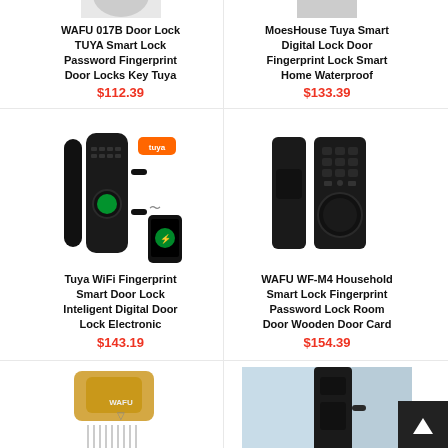[Figure (photo): WAFU 017B Door Lock product image (partially visible at top)]
WAFU 017B Door Lock TUYA Smart Lock Password Fingerprint Door Locks Key Tuya
$112.39
[Figure (photo): MoesHouse Tuya Smart Digital Lock product image (partially visible at top)]
MoesHouse Tuya Smart Digital Lock Door Fingerprint Lock Smart Home Waterproof
$133.39
[Figure (photo): Tuya WiFi Fingerprint Smart Door Lock product image with Tuya orange badge and phone app shown]
Tuya WiFi Fingerprint Smart Door Lock Inteligent Digital Door Lock Electronic
$143.19
[Figure (photo): WAFU WF-M4 Household Smart Lock Fingerprint Password Lock product image showing two black lock components]
WAFU WF-M4 Household Smart Lock Fingerprint Password Lock Room Door Wooden Door Card
$154.39
[Figure (photo): Gold/champagne colored door lock with screws and components partially visible]
[Figure (photo): Smart lock on door with light blue background partially visible]